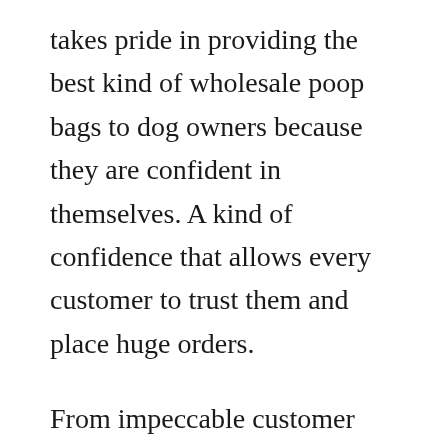takes pride in providing the best kind of wholesale poop bags to dog owners because they are confident in themselves. A kind of confidence that allows every customer to trust them and place huge orders.
From impeccable customer service to their high-quality products, they do everything for the dogs because they are completely in love with them as a company. The most passionate wholesale supplier of dog poops bags you will find out there. Check out their website